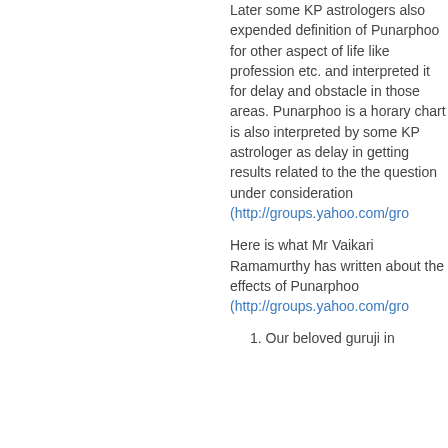Later some KP astrologers also expended definition of Punarphoo for other aspect of life like profession etc. and interpreted it for delay and obstacle in those areas. Punarphoo is a horary chart is also interpreted by some KP astrologer as delay in getting results related to the the question under consideration (http://groups.yahoo.com/gro
Here is what Mr Vaikari Ramamurthy has written about the effects of Punarphoo (http://groups.yahoo.com/gro
1. Our beloved guruji in